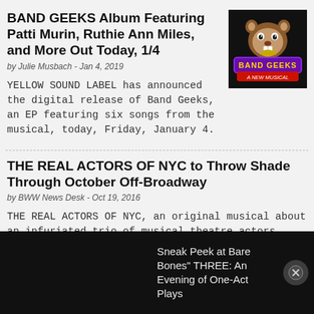BAND GEEKS Album Featuring Patti Murin, Ruthie Ann Miles, and More Out Today, 1/4
by Julie Musbach - Jan 4, 2019
[Figure (logo): Band Geeks - A New Musical logo with cartoon beaver mascot on black background]
YELLOW SOUND LABEL has announced the digital release of Band Geeks, an EP featuring six songs from the musical, today, Friday, January 4.
THE REAL ACTORS OF NYC to Throw Shade Through October Off-Broadway
by BWW News Desk - Oct 19, 2016
THE REAL ACTORS OF NYC, an original musical about an infuriated trio of musical theatre actors determined make it on Broadway by any means, with book, lyrics and music by
Sneak Peek at Bare Bones" THREE: An Evening of One-Act Plays